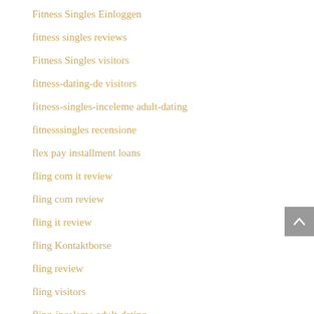Fitness Singles Einloggen
fitness singles reviews
Fitness Singles visitors
fitness-dating-de visitors
fitness-singles-inceleme adult-dating
fitnesssingles recensione
flex pay installment loans
fling com it review
fling com review
fling it review
fling Kontaktborse
fling review
fling visitors
fling-inceleme adult-dating
Flingster review